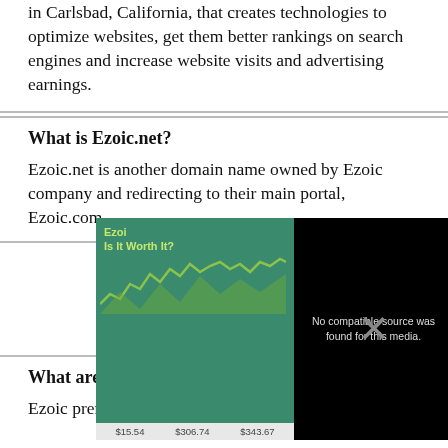in Carlsbad, California, that creates technologies to optimize websites, get them better rankings on search engines and increase website visits and advertising earnings.
What is Ezoic.net?
Ezoic.net is another domain name owned by Ezoic company and redirecting to their main portal, Ezoic.com.
[Figure (screenshot): An overlay popup with a video player showing 'No compatible source was found for this media.' and a teal/green advertisement panel on the left showing Ezoic branding, 'Is It Worth It?' text, a chart, and dollar values $15.54, $306.74, $343.67. A close button X is visible top right.]
What are Ezoic premium ads?
Ezoic premium ads are advertising deals